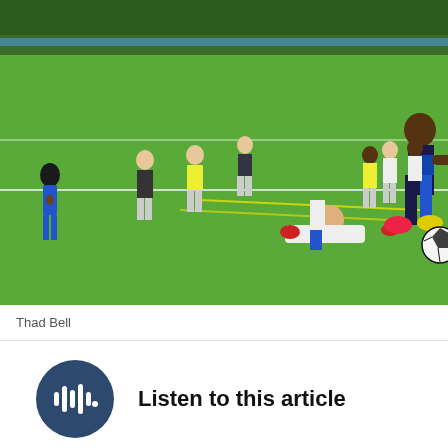[Figure (photo): Soccer players competing on a green artificial turf field. A player in a dark blue uniform with blue shorts dribbles the ball while a player in white attempts a sliding tackle. Other players and officials are visible in the background near a fence with trees.]
Thad Bell
Listen to this article